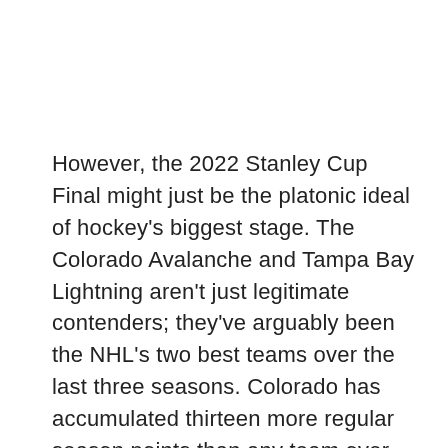However, the 2022 Stanley Cup Final might just be the platonic ideal of hockey's biggest stage. The Colorado Avalanche and Tampa Bay Lightning aren't just legitimate contenders; they've arguably been the NHL's two best teams over the last three seasons. Colorado has accumulated thirteen more regular season points than any team over that span. Tampa Bay, meanwhile, has not